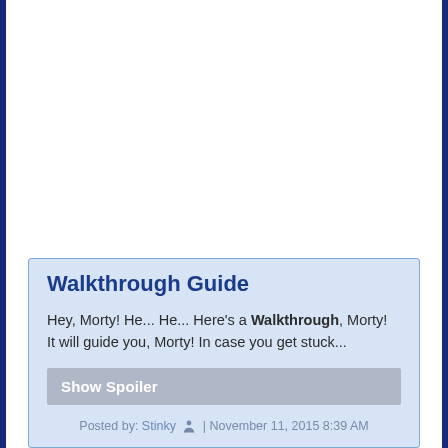Walkthrough Guide
Hey, Morty! He... He... Here's a Walkthrough, Morty! It will guide you, Morty! In case you get stuck...
Show Spoiler
Posted by: Stinky | November 11, 2015 8:39 AM